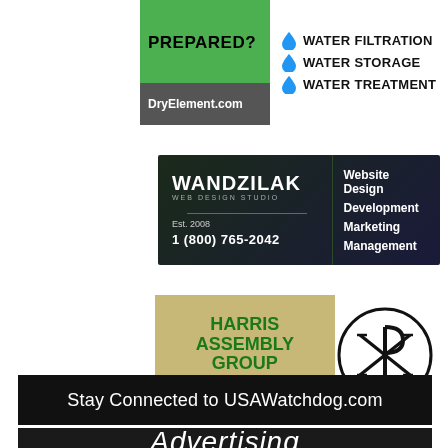[Figure (infographic): DryElement.com ad: green banner with PREPARED? text, gray banner with DryElement.com, and water drop icons listing Water Filtration, Water Storage, Water Treatment]
[Figure (infographic): Wandzilak Web Design Studio ad: dark navy/green gradient background, brand name, Est. 2008, phone 1 (800) 765-2042, services: Website Design, Development, Marketing, Management]
[Figure (infographic): Harris Assembly Group ad: tan/khaki background with green bold text HARRIS ASSEMBLY GROUP and AS 9100D ISO 9001:2015, plus Chi-Rho symbol circle logo on right]
[Figure (infographic): Black banner: Stay Connected to USAWatchdog.com]
[Figure (infographic): Dark banner partially visible with Advertising text in italic]